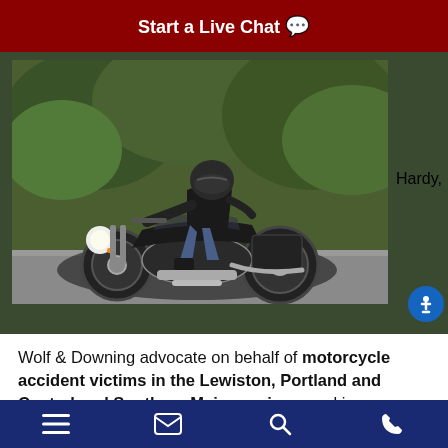Start a Live Chat 💬
[Figure (photo): Person riding a black motorcycle on a road with green trees in the background. Rider is wearing a black helmet, sunglasses, and leather jacket with jeans.]
Hardy,
Wolf & Downing advocate on behalf of motorcycle accident victims in the Lewiston, Portland and Central and Southern Maine regions, making sure bikers and their families secure the compensation they deserve in the wake
Navigation menu | Email | Search | Phone